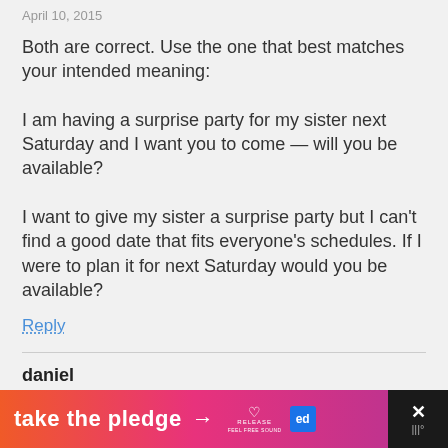April 10, 2015
Both are correct. Use the one that best matches your intended meaning:

I am having a surprise party for my sister next Saturday and I want you to come — will you be available?

I want to give my sister a surprise party but I can't find a good date that fits everyone's schedules. If I were to plan it for next Saturday would you be available?
Reply
daniel
June 19, 2016
would you be available
Reply
[Figure (infographic): Orange-to-pink gradient ad banner reading 'take the pledge' with arrow, Release logo, and Ed badge. Dark close button with X on right side.]